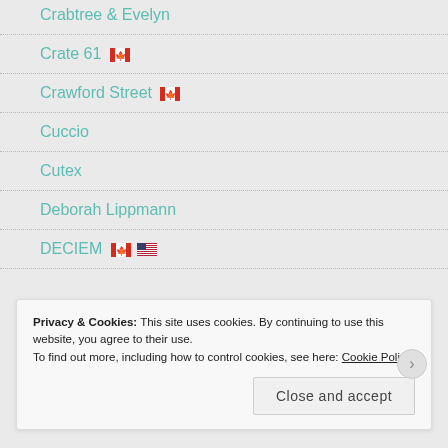Crabtree & Evelyn
Crate 61 🇨🇦
Crawford Street 🇨🇦
Cuccio
Cutex
Deborah Lippmann
DECIEM 🇨🇦🇺🇸
Privacy & Cookies: This site uses cookies. By continuing to use this website, you agree to their use. To find out more, including how to control cookies, see here: Cookie Policy
Close and accept